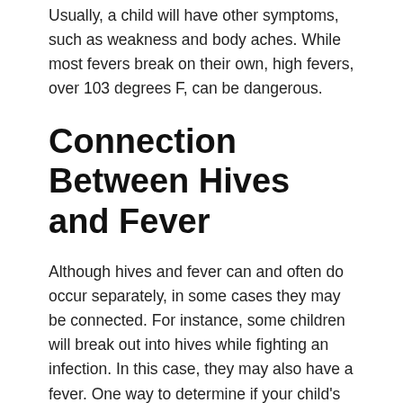Usually, a child will have other symptoms, such as weakness and body aches. While most fevers break on their own, high fevers, over 103 degrees F, can be dangerous.
Connection Between Hives and Fever
Although hives and fever can and often do occur separately, in some cases they may be connected. For instance, some children will break out into hives while fighting an infection. In this case, they may also have a fever. One way to determine if your child's hives are caused by an infection is to take her temperature to see if she also has a fever, according to the Ask Dr. Sears website.